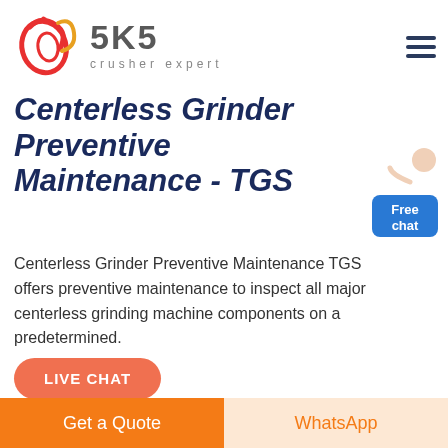[Figure (logo): SKS Crusher Expert logo with red swoosh / ring emblem and gray SKS text with 'crusher expert' tagline]
Centerless Grinder Preventive Maintenance - TGS
Centerless Grinder Preventive Maintenance TGS offers preventive maintenance to inspect all major centerless grinding machine components on a predetermined.
[Figure (illustration): Free chat button with person pointing, blue rounded rectangle button]
[Figure (photo): Industrial centerless grinder machine components photo]
Get a Quote
WhatsApp